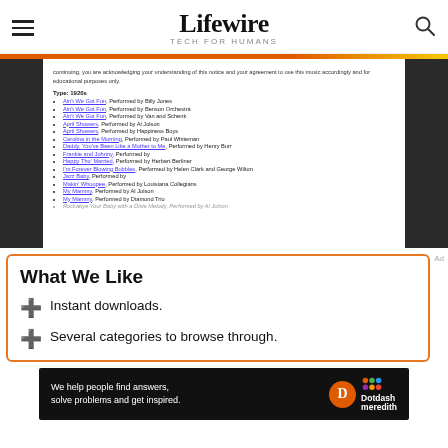Lifewire — TECH FOR HUMANS
[Figure (screenshot): Screenshot of a webpage showing a list of 1920s songs with links, including 'Ain't We Got Fun', 'April Showers', 'Carolina in the Morning', 'Daddy You've Been Like a Mother to Me', 'Frankie and Johnny', 'Happy Tho' Married', 'I'm Forever Blowing Bubbles', 'Jazz Baby', 'Makin' Whoopee', 'My Mammy' performed by various artists.]
What We Like
Instant downloads.
Several categories to browse through.
[Figure (infographic): Dotdash Meredith advertisement banner: 'We help people find answers, solve problems and get inspired.' with D logo and colorful Dotdash Meredith logo.]